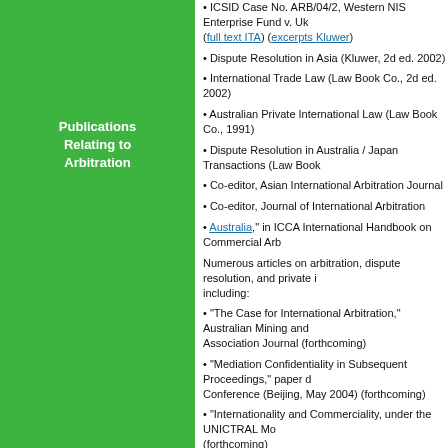Publications Relating to Arbitration
ICSID Case No. ARB/04/2, Western NIS Enterprise Fund v. Uk... (full text ITA) (excerpts Kluwer)
Dispute Resolution in Asia (Kluwer, 2d ed. 2002)
International Trade Law (Law Book Co., 2d ed. 2002)
Australian Private International Law (Law Book Co., 1991)
Dispute Resolution in Australia / Japan Transactions (Law Book...)
Co-editor, Asian International Arbitration Journal
Co-editor, Journal of International Arbitration
Australia," in ICCA International Handbook on Commercial Arb...
Numerous articles on arbitration, dispute resolution, and private i... including:
"The Case for International Arbitration," Australian Mining and... Association Journal (forthcoming)
"Mediation Confidentiality in Subsequent Proceedings," paper d... Conference (Beijing, May 2004) (forthcoming)
"Internationality and Commerciality, under the UNICTRAL Mo... (forthcoming)
"Multiple Claims in Arbitration Between States the Same Partie... ICCA Congress, Dublin, 2008) (forthcoming)
"The Kaplan Lecture 2009 - When is an arbitration agreement w... 105
"Recognition and Enforcement of Foreign Awards Under the Ne... Australia and New Zealand," 25(6) J. Int'l Arb. 2008 899 (with R...
"Reservations Available to Member States: The Reciprocal and...